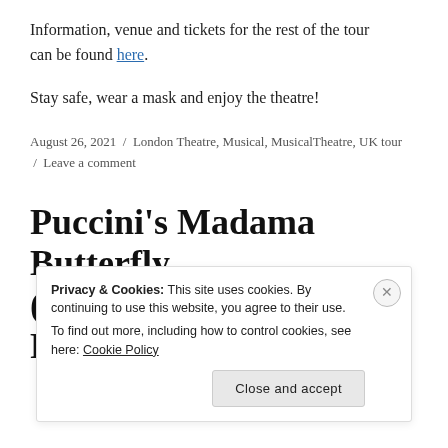Information, venue and tickets for the rest of the tour can be found here.
Stay safe, wear a mask and enjoy the theatre!
August 26, 2021  /  London Theatre, Musical, MusicalTheatre, UK tour  /  Leave a comment
Puccini's Madama Butterfly (An Ellen Kent Production)
Privacy & Cookies: This site uses cookies. By continuing to use this website, you agree to their use.
To find out more, including how to control cookies, see here: Cookie Policy